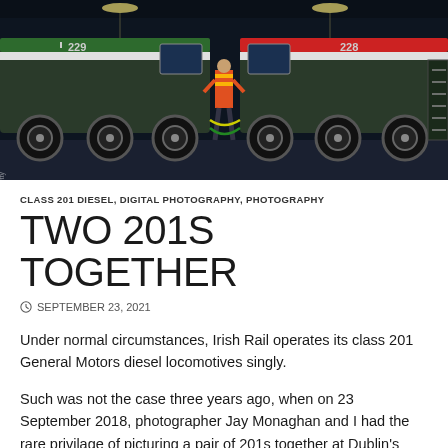[Figure (photo): Two Irish Rail Class 201 diesel locomotives (numbers 229 and 228) side by side in a maintenance depot, with a worker in a high-visibility vest standing between them. Industrial overhead lighting, dark background.]
CLASS 201 DIESEL, DIGITAL PHOTOGRAPHY, PHOTOGRAPHY
TWO 201S TOGETHER
SEPTEMBER 23, 2021
Under normal circumstances, Irish Rail operates its class 201 General Motors diesel locomotives singly.
Such was not the case three years ago, when on 23 September 2018, photographer Jay Monaghan and I had the rare privilage of picturing a pair of 201s together at Dublin's Heuston Staton on a train that had just arrived uproad from Cork.